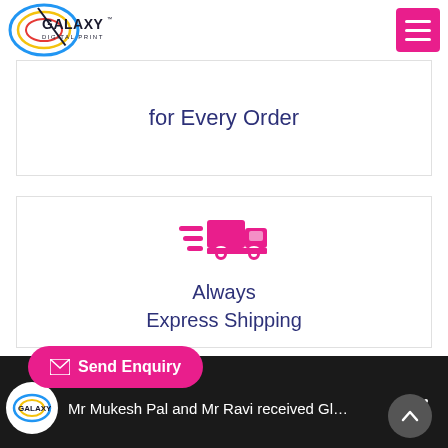Galaxy Digital Print — navigation header with logo and hamburger menu
for Every Order
[Figure (illustration): Pink fast-delivery truck icon with motion lines]
Always Express Shipping
Send Enquiry
Mr Mukesh Pal and Mr Ravi received Gl…